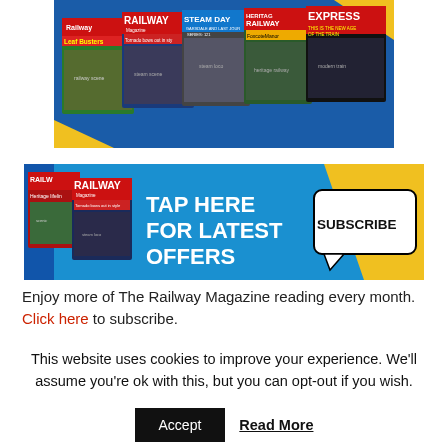[Figure (photo): Multiple Railway Magazine covers fanned out, including Railway, Steam Days, Heritage Railway, Railway Express titles]
[Figure (photo): Railway Magazine subscription banner: 'TAP HERE FOR LATEST OFFERS' with SUBSCRIBE speech bubble, showing magazine covers]
Enjoy more of The Railway Magazine reading every month. Click here to subscribe.
This website uses cookies to improve your experience. We'll assume you're ok with this, but you can opt-out if you wish.
Accept   Read More